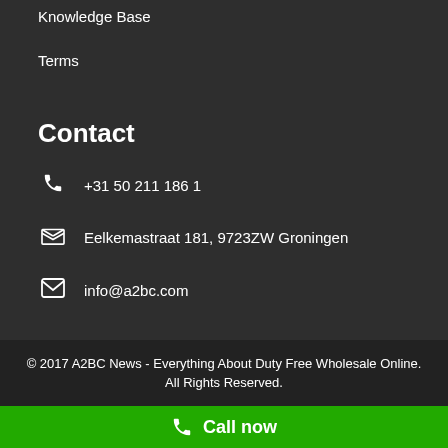Knowledge Base
Terms
Contact
+31 50 211 186 1
Eelkemastraat 181, 9723ZW Groningen
info@a2bc.com
© 2017 A2BC News - Everything About Duty Free Wholesale Online. All Rights Reserved.
Call now